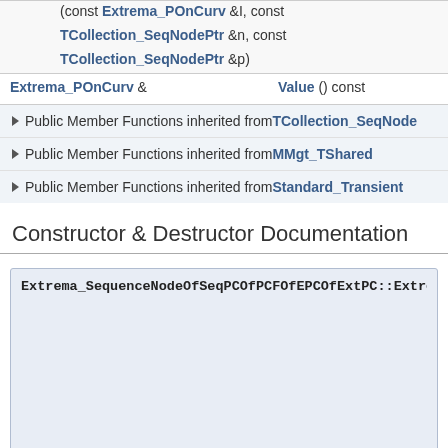| (const Extrema_POnCurv &I, const |  |
| TCollection_SeqNodePtr &n, const |  |
| TCollection_SeqNodePtr &p) |  |
| Extrema_POnCurv & | Value () const |
Public Member Functions inherited from TCollection_SeqNode
Public Member Functions inherited from MMgt_TShared
Public Member Functions inherited from Standard_Transient
Constructor & Destructor Documentation
Extrema_SequenceNodeOfSeqPCOfPCFOfEPCOfExtPC::Extrem
Member Function Documentation